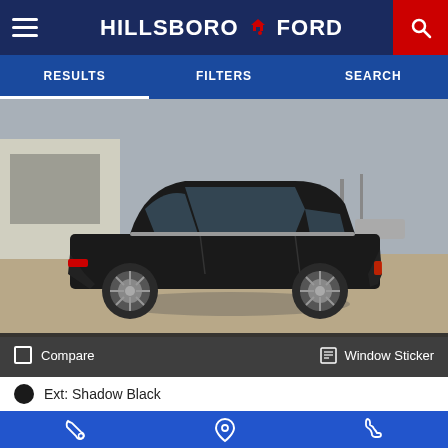HILLSBORO FORD
RESULTS | FILTERS | SEARCH
[Figure (photo): Side profile photo of a black Ford Escape SUV parked in a dealer lot with cloudy sky background. The vehicle is shown in full side view on a concrete surface.]
Compare
Window Sticker
Ext: Shadow Black